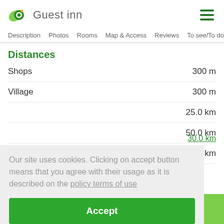Guest inn
Description Photos Rooms Map & Access Reviews To see/To do
Distances
Shops
300 m
Village
300 m
25.0 km
50.0 km
25.0 km
Our site uses cookies. Clicking on accept button means that you agree with their usage as it is described on the policy terms of use
Accept